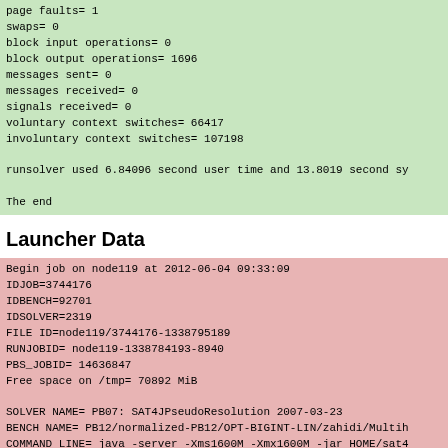page faults= 1
swaps= 0
block input operations= 0
block output operations= 1696
messages sent= 0
messages received= 0
signals received= 0
voluntary context switches= 66417
involuntary context switches= 107198

runsolver used 6.84096 second user time and 13.8019 second sy

The end
Launcher Data
Begin job on node119 at 2012-06-04 09:33:09
IDJOB=3744176
IDBENCH=92701
IDSOLVER=2319
FILE ID=node119/3744176-1338795189
RUNJOBID= node119-1338784193-8940
PBS_JOBID= 14636847
Free space on /tmp= 70892 MiB

SOLVER NAME= PB07: SAT4JPseudoResolution 2007-03-23
BENCH NAME= PB12/normalized-PB12/OPT-BIGINT-LIN/zahidi/Multih
COMMAND LINE= java -server -Xms1600M -Xmx1600M -jar HOME/sat4
RUNSOLVER COMMAND LINE= BIN/runsolver --timestamp -w /tmp/eva

TIME LIMIT= 1800 seconds
MEMORY LIMIT= 1800 MiB